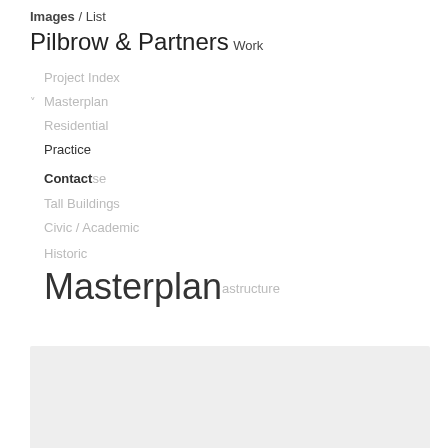Pilbrow & Partners
Work
Project Index
Masterplan
Residential
Practice
Contact se
Tall Buildings
Civic / Academic
Historic
Masterplan astructure
Images / List
[Figure (other): Light grey rectangular image placeholder area at bottom of page]